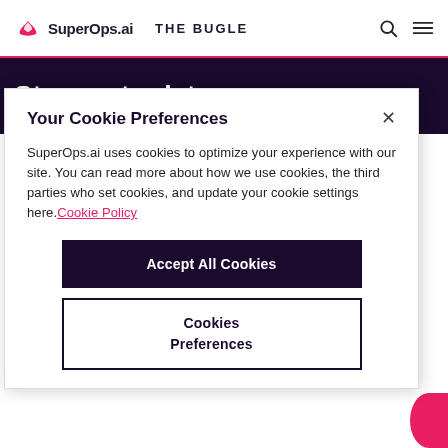SuperOps.ai  THE BUGLE
Stay up-to-date on
Your Cookie Preferences
SuperOps.ai uses cookies to optimize your experience with our site. You can read more about how we use cookies, the third parties who set cookies, and update your cookie settings here. Cookie Policy
Accept All Cookies
Cookies Preferences